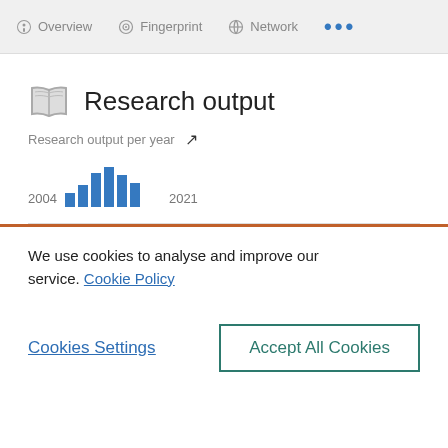Overview  Fingerprint  Network  ...
Research output
[Figure (bar-chart): Research output per year]
We use cookies to analyse and improve our service. Cookie Policy
Cookies Settings
Accept All Cookies